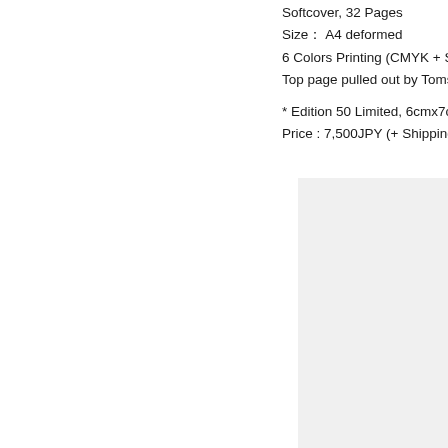Softcover, 32 Pages
Size： A4 deformed
6 Colors Printing (CMYK + Sup…
Top page pulled out by Tomson…

* Edition 50 Limited, 6cmx7cm…
Price : 7,500JPY (+ Shipping P…
[Figure (photo): A dark book cover showing edition number 22/50, a handwritten signature, Japanese text title, and small printed details in white on black/dark background.]